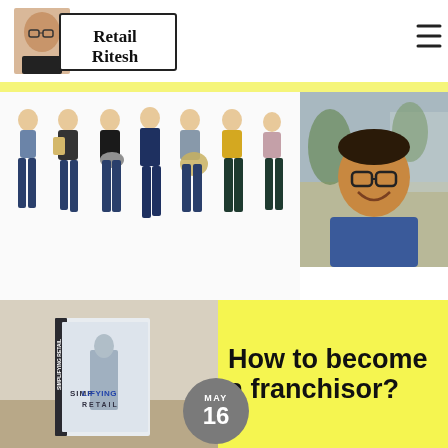[Figure (logo): Retail Ritesh logo with man's headshot and text in a bordered box]
[Figure (illustration): Fashion illustration showing seven figures in various outfits, watercolor style]
[Figure (photo): Portrait photo of a smiling man with glasses wearing a blue jacket, outdoors]
[Figure (photo): Photo of a book titled 'Simplifying Retail' standing upright]
How to become a franchisor?
MAY 16